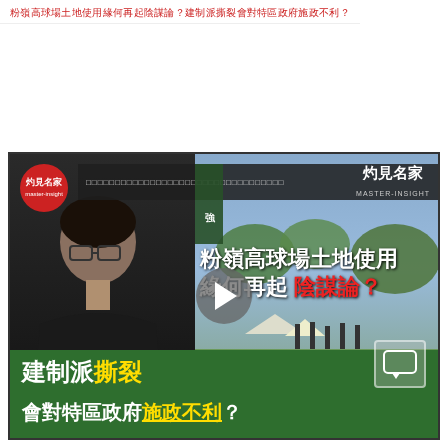粉嶺高球場土地使用緣何再起陰謀論？建制派撕裂會對特區政府施政不利？
[Figure (screenshot): Video thumbnail showing a man in dark shirt on the left and an outdoor/golf course scene on the right, with Chinese text overlay. Title reads: 粉嶺高球場土地使用緣何再起陰謀論？建制派撕裂會對特區政府施政不利？. Brand logo '灼見名家' shown in red circle top-left.]